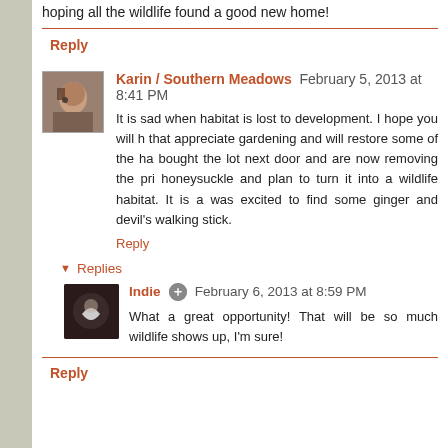hoping all the wildlife found a good new home!
Reply
Karin / Southern Meadows  February 5, 2013 at 8:41 PM
It is sad when habitat is lost to development. I hope you will h... that appreciate gardening and will restore some of the ha... bought the lot next door and are now removing the pri... honeysuckle and plan to turn it into a wildlife habitat. It is a... was excited to find some ginger and devil's walking stick.
Reply
Replies
Indie  February 6, 2013 at 8:59 PM
What a great opportunity! That will be so much... wildlife shows up, I'm sure!
Reply